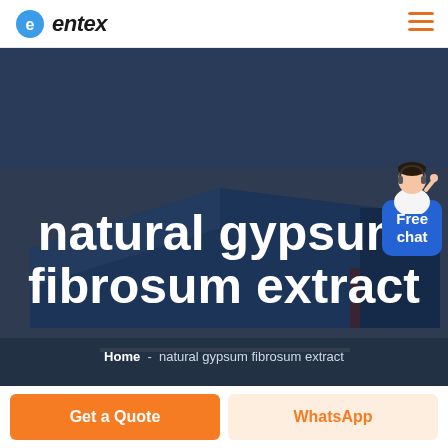entex (logo)
[Figure (photo): Aerial view of a large industrial facility with blue roofed warehouse buildings, used as hero background image]
natural gypsum fibrosum extract
Home  -  natural gypsum fibrosum extract
[Figure (illustration): Free chat widget with a customer service avatar and blue bubble saying 'Free chat']
Get a Quote
WhatsApp